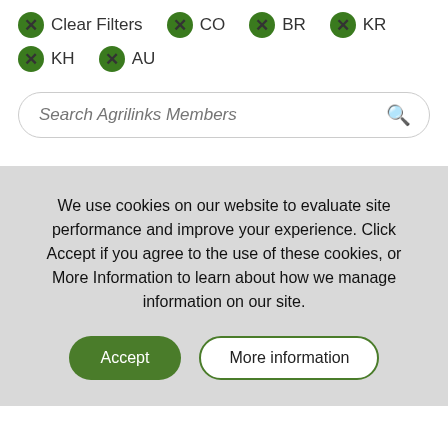Clear Filters
CO
BR
KR
KH
AU
Search Agrilinks Members
We use cookies on our website to evaluate site performance and improve your experience. Click Accept if you agree to the use of these cookies, or More Information to learn about how we manage information on our site.
Accept
More information